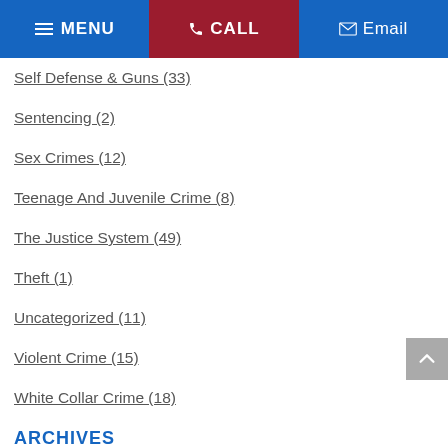MENU | CALL | Email
Self Defense & Guns (33)
Sentencing (2)
Sex Crimes (12)
Teenage And Juvenile Crime (8)
The Justice System (49)
Theft (1)
Uncategorized (11)
Violent Crime (15)
White Collar Crime (18)
ARCHIVES
August 2022 (6)
July 2022 (2)